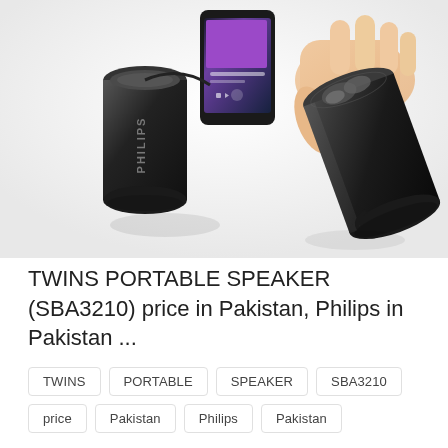[Figure (photo): Product photo of Philips TWINS portable speakers (SBA3210) — two small black cylindrical speakers, one being held in a hand, connected to a smartphone playing music. The speakers are glossy black with the Philips logo visible.]
TWINS PORTABLE SPEAKER (SBA3210) price in Pakistan, Philips in Pakistan ...
TWINS
PORTABLE
SPEAKER
SBA3210
price
Pakistan
Philips
Pakistan